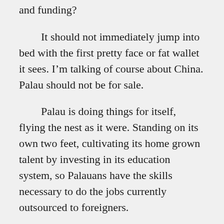and funding?
It should not immediately jump into bed with the first pretty face or fat wallet it sees. I'm talking of course about China. Palau should not be for sale.
Palau is doing things for itself, flying the nest as it were. Standing on its own two feet, cultivating its home grown talent by investing in its education system, so Palauans have the skills necessary to do the jobs currently outsourced to foreigners.
As a foreigner myself it would seem that I'm sawing at the